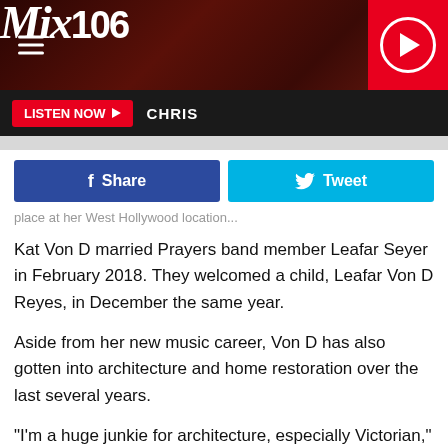[Figure (screenshot): Mix 106 radio station website header with logo, hamburger menu, and red play button]
LISTEN NOW ▶  CHRIS
...place at her West Hollywood location....
Kat Von D married Prayers band member Leafar Seyer in February 2018. They welcomed a child, Leafar Von D Reyes, in December the same year.
Aside from her new music career, Von D has also gotten into architecture and home restoration over the last several years.
"I'm a huge junkie for architecture, especially Victorian," she told Stage Right Secrets earlier this year. "The house that we have here in Los Angeles was built in 1890 and I've spent the